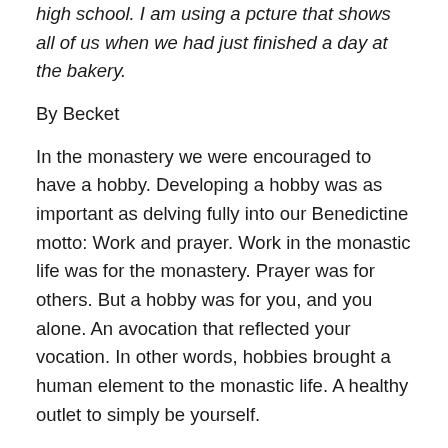high school. I am using a picture that shows all of us when we had just finished a day at the bakery.
By Becket
In the monastery we were encouraged to have a hobby. Developing a hobby was as important as delving fully into our Benedictine motto: Work and prayer. Work in the monastic life was for the monastery. Prayer was for others. But a hobby was for you, and you alone. An avocation that reflected your vocation. In other words, hobbies brought a human element to the monastic life. A healthy outlet to simply be yourself.
Brother Cadfael started a small vineyard. Father Dominic enjoyed archeology and taxidermy. Abbot Justin had a small green house and he grew a lovely garden. Father Augustine enjoyed bird watching, and he jokingly referred